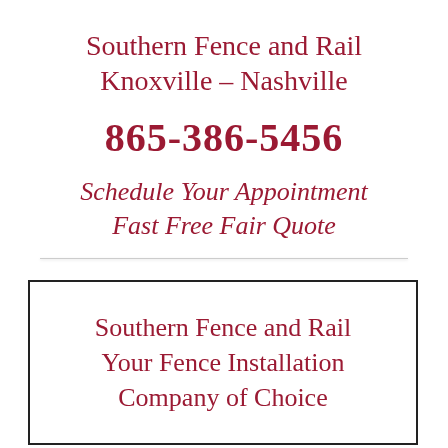Southern Fence and Rail Knoxville – Nashville
865-386-5456
Schedule Your Appointment Fast Free Fair Quote
Southern Fence and Rail Your Fence Installation Company of Choice